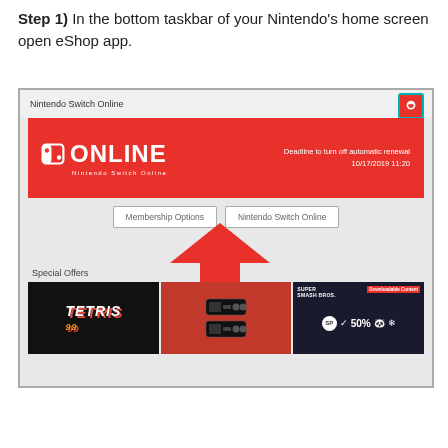Step 1) In the bottom taskbar of your Nintendo's home screen open eShop app.
[Figure (screenshot): Nintendo Switch eShop screenshot showing Nintendo Switch Online banner with 'ONLINE' text and deadline to turn off automatic renewal 10/17/2019 11:20. Below are two buttons: 'Membership Options' and 'Nintendo Switch Online'. A red arrow points to the 'Nintendo Switch Online' button. Special Offers section shows Tetris 99, NES controllers, and Super Smash Bros downloadable content tiles.]